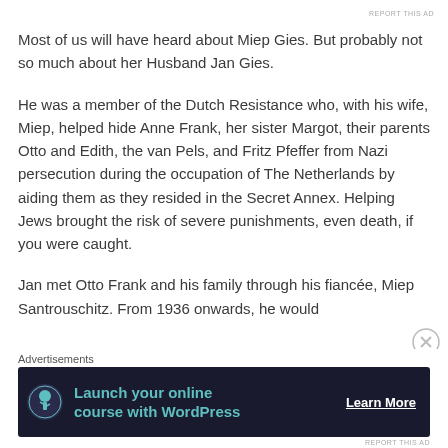REPORT THIS AD
Most of us will have heard about Miep Gies. But probably not so much about her Husband Jan Gies.
He was a member of the Dutch Resistance who, with his wife, Miep, helped hide Anne Frank, her sister Margot, their parents Otto and Edith, the van Pels, and Fritz Pfeffer from Nazi persecution during the occupation of The Netherlands by aiding them as they resided in the Secret Annex. Helping Jews brought the risk of severe punishments, even death, if you were caught.
Jan met Otto Frank and his family through his fiancée, Miep Santrouschitz. From 1936 onwards, he would
Advertisements
[Figure (other): Advertisement banner: dark navy background with tree/person icon, teal text 'Launch your online course with WordPress', and white 'Learn More' button with underline]
REPORT THIS AD